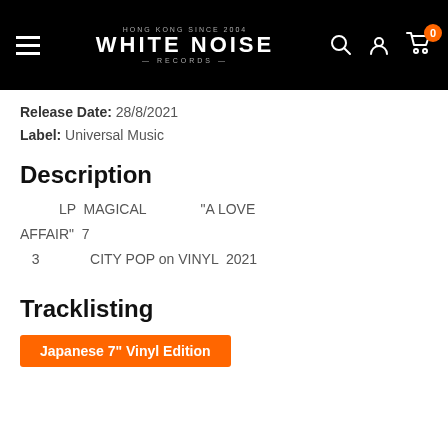[Figure (logo): White Noise Records logo with hamburger menu and header icons including search, account, and cart with badge showing 0]
Release Date: 28/8/2021
Label: Universal Music
Description
LP  MAGICAL                    "A LOVE AFFAIR"  7
   3                CITY POP on VINYL  2021
Tracklisting
Japanese 7" Vinyl Edition